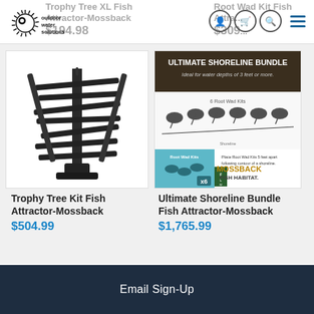[Figure (logo): Outdoor Water Solutions logo - black spiky circular emblem with 'outdoor water solutions' text]
Trophy Tree XL Fish Attractor-Mossback $194.98 (partially visible, cropped at top)
Root Wad Kit Fish Attractor-Mossback $309... (partially visible, cropped at top)
[Figure (photo): Trophy Tree Kit Fish Attractor product photo - black plastic tree-like fish attractor structure]
Trophy Tree Kit Fish Attractor-Mossback
$504.99
[Figure (photo): Ultimate Shoreline Bundle - product image showing 'ULTIMATE SHORELINE BUNDLE - Ideal for water depths of 3 feet or more' with 6 Root Wad Kits and Mossback Fish Habitat branding]
Ultimate Shoreline Bundle Fish Attractor-Mossback
$1,765.99
Email Sign-Up